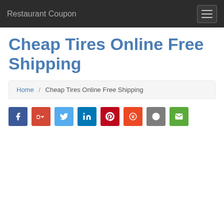Restaurant Coupon
Cheap Tires Online Free Shipping
Home / Cheap Tires Online Free Shipping
[Figure (infographic): Row of 8 social sharing icon buttons: Facebook (blue), Google+ (red), Twitter (light blue), LinkedIn (dark blue), Pinterest (dark red), StumbleUpon (orange), Reddit (gray), Email (green)]